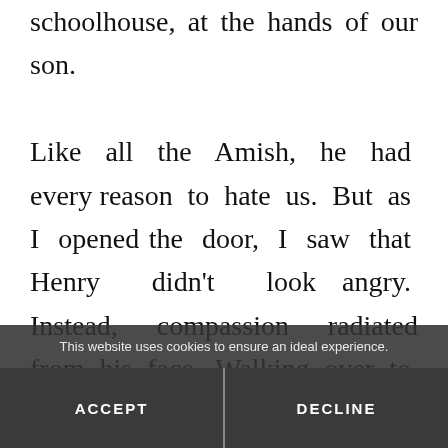schoolhouse, at the hands of our son. Like all the Amish, he had every reason to hate us. But as I opened the door, I saw that Henry didn't look angry. Instead, compassion radiated from his face. Walking over to Chuck, he put one hand on his shoulder. The first words I heard him speak took
This website uses cookies to ensure an ideal experience.
ACCEPT
DECLINE